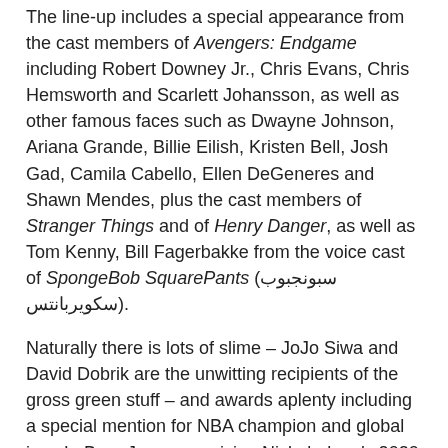The line-up includes a special appearance from the cast members of Avengers: Endgame including Robert Downey Jr., Chris Evans, Chris Hemsworth and Scarlett Johansson, as well as other famous faces such as Dwayne Johnson, Ariana Grande, Billie Eilish, Kristen Bell, Josh Gad, Camila Cabello, Ellen DeGeneres and Shawn Mendes, plus the cast members of Stranger Things and of Henry Danger, as well as Tom Kenny, Bill Fagerbakke from the voice cast of SpongeBob SquarePants (سبونجبوب سكويربانتس).
Naturally there is lots of slime – JoJo Siwa and David Dobrik are the unwitting recipients of the gross green stuff – and awards aplenty including a special mention for NBA champion and global icon LeBron James receiving Nickelodeon's 2020 Generation Change Award, in honor of his commitment to creating real and lasting change through education, with his charity The LeBron James Family Foundation's groundbreaking I PROMISE School. A $1 Million donation to No Kid Hungry, a national campaign to end childhood hunger in America, in support of those affected by the COVID-19 pandemic.
Time Out Dubai had a quick chat with the award's host...